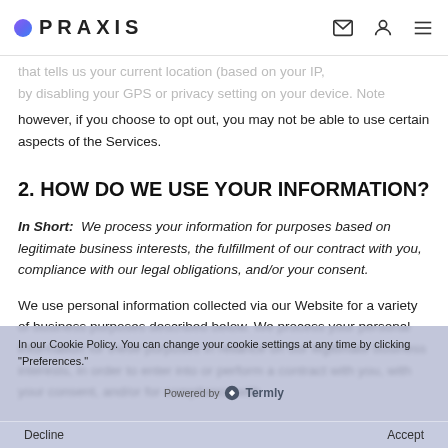PRAXIS
that tells us your current location (based on your IP. By disabling your GPS or privacy setting on your device. Note however, if you choose to opt out, you may not be able to use certain aspects of the Services.
2. HOW DO WE USE YOUR INFORMATION?
In Short: We process your information for purposes based on legitimate business interests, the fulfillment of our contract with you, compliance with our legal obligations, and/or your consent.
We use personal information collected via our Website for a variety of business purposes described below. We process your personal information for these purposes in reliance on our legitimate business interests, in order to enter into or perform a contract with you, with your consent, and/or for compliance with our legal obligations. We indicate the specific
In our Cookie Policy. You can change your cookie settings at any time by clicking "Preferences."
Decline
Accept